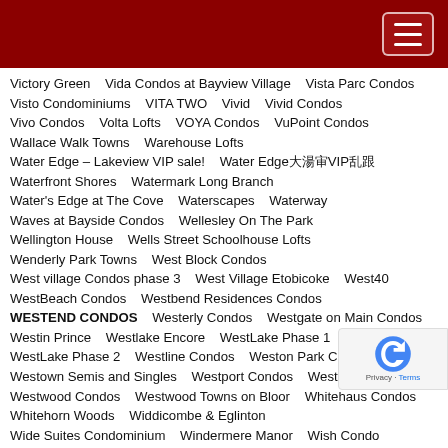Victory Green   Vida Condos at Bayview Village   Vista Parc Condos
Visto Condominiums   VITA TWO   Vivid   Vivid Condos
Vivo Condos   Volta Lofts   VOYA Condos   VuPoint Condos
Wallace Walk Towns   Warehouse Lofts
Water Edge – Lakeview VIP sale!   Water Edge…VIP…
Waterfront Shores   Watermark Long Branch
Water's Edge at The Cove   Waterscapes   Waterway
Waves at Bayside Condos   Wellesley On The Park
Wellington House   Wells Street Schoolhouse Lofts
Wenderly Park Towns   West Block Condos
West village Condos phase 3   West Village Etobicoke   West40
WestBeach Condos   Westbend Residences Condos
WESTEND CONDOS   Westerly Condos   Westgate on Main Condos
Westin Prince   Westlake Encore   WestLake Phase 1
WestLake Phase 2   Westline Condos   Weston Park Condos Toronto
Westown Semis and Singles   Westport Condos   Westwood
Westwood Condos   Westwood Towns on Bloor   Whitehaus Condos
Whitehorn Woods   Widdicombe & Eglinton
Wide Suites Condominium   Windermere Manor   Wish Condos
Wonder Condos   Woodsworth Condos   World on Yonge   X...
XO Condos   XO Condos 2   Xpression Condos (I & II)   Y9825
YC Condos – Yonge at College